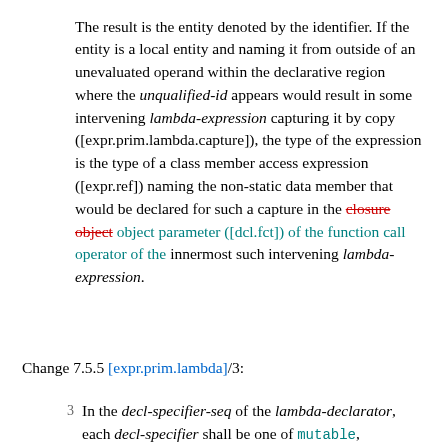The result is the entity denoted by the identifier. If the entity is a local entity and naming it from outside of an unevaluated operand within the declarative region where the unqualified-id appears would result in some intervening lambda-expression capturing it by copy ([expr.prim.lambda.capture]), the type of the expression is the type of a class member access expression ([expr.ref]) naming the non-static data member that would be declared for such a capture in the closure object object parameter ([dcl.fct]) of the function call operator of the innermost such intervening lambda-expression.
Change 7.5.5 [expr.prim.lambda]/3:
3  In the decl-specifier-seq of the lambda-declarator, each decl-specifier shall be one of mutable, constexpr, or consteval. If the lambda-declarator contains an explicit object parameter ([dcl.fct]), then no decl-specifier in